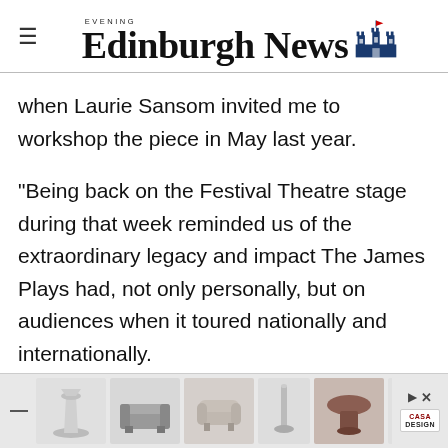Edinburgh Evening News
when Laurie Sansom invited me to workshop the piece in May last year.
"Being back on the Festival Theatre stage during that week reminded us of the extraordinary legacy and impact The James Plays had, not only personally, but on audiences when it toured nationally and internationally.
“It was an extraordinary part of my life and I was trans... lling and f...